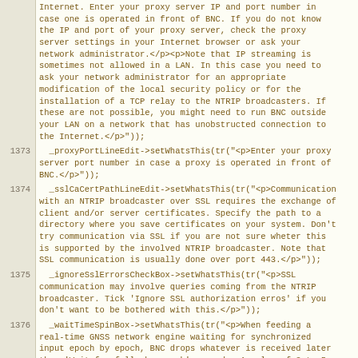Internet. Enter your proxy server IP and port number in case one is operated in front of BNC. If you do not know the IP and port of your proxy server, check the proxy server settings in your Internet browser or ask your network administrator.</p><p>Note that IP streaming is sometimes not allowed in a LAN. In this case you need to ask your network administrator for an appropriate modification of the local security policy or for the installation of a TCP relay to the NTRIP broadcasters. If these are not possible, you might need to run BNC outside your LAN on a network that has unobstructed connection to the Internet.</p>"));
1373    _proxyPortLineEdit->setWhatsThis(tr("<p>Enter your proxy server port number in case a proxy is operated in front of BNC.</p>"));
1374    _sslCaCertPathLineEdit->setWhatsThis(tr("<p>Communication with an NTRIP broadcaster over SSL requires the exchange of client and/or server certificates. Specify the path to a directory where you save certificates on your system. Don't try communication via SSL if you are not sure wheter this is supported by the involved NTRIP broadcaster. Note that SSL communication is usually done over port 443.</p>"));
1375    _ignoreSslErrorsCheckBox->setWhatsThis(tr("<p>SSL communication may involve queries coming from the NTRIP broadcaster. Tick 'Ignore SSL authorization erros' if you don't want to be bothered with this.</p>"));
1376    _waitTimeSpinBox->setWhatsThis(tr("<p>When feeding a real-time GNSS network engine waiting for synchronized input epoch by epoch, BNC drops whatever is received later than 'Wait for full obs epoch' seconds. A value of 3 to 5 seconds is recommended, depending on the latency of the incoming streams and the delay acceptable to your real-time GNSS network engine or products.</p>"));
1377    _outFileLineEdit->setWhatsThis(tr("Specify the full path